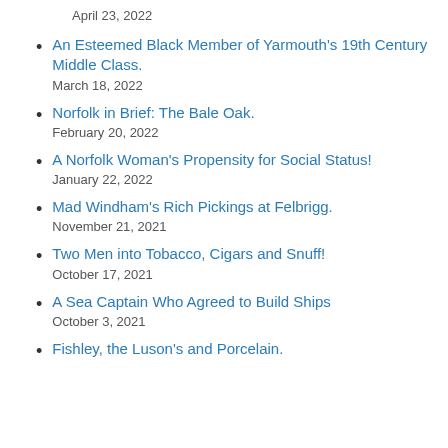April 23, 2022
An Esteemed Black Member of Yarmouth’s 19th Century Middle Class.
March 18, 2022
Norfolk in Brief: The Bale Oak.
February 20, 2022
A Norfolk Woman’s Propensity for Social Status!
January 22, 2022
Mad Windham’s Rich Pickings at Felbrigg.
November 21, 2021
Two Men into Tobacco, Cigars and Snuff!
October 17, 2021
A Sea Captain Who Agreed to Build Ships
October 3, 2021
Fishley, the Luson’s and Porcelain.